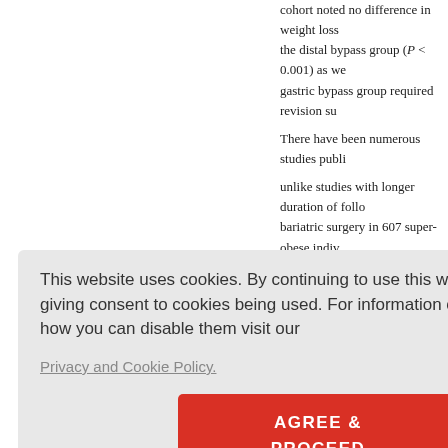cohort noted no difference in weight loss the distal bypass group (P < 0.001) as we gastric bypass group required revision su
There have been numerous studies publi
unlike studies with longer duration of follo bariatric surgery in 607 super-obese indiv LSG. At the end of 36 months, there was in HBA1c with no statistical difference be as a stand-alone procedure for super-obe
In recent years, there has been an increa individuals. Lemanu et al. in a retrospect
er %EWL ith longer
e surgical a
se who be [23],[24]
y a more r ight loss, b uation. Va t one stage :luding inp
choice should be able to deliver significa
This website uses cookies. By continuing to use this website you are giving consent to cookies being used. For information on cookies and how you can disable them visit our Privacy and Cookie Policy. AGREE & PROCEED